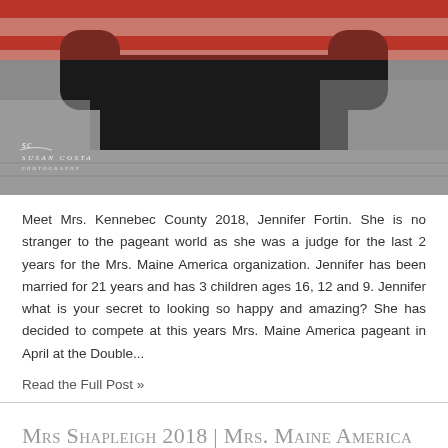[Figure (photo): Person in black clothing holding up an American flag with red, white and blue stripes visible. Photo has Susan Costa Photography watermark.]
Meet Mrs. Kennebec County 2018, Jennifer Fortin. She is no stranger to the pageant world as she was a judge for the last 2 years for the Mrs. Maine America organization. Jennifer has been married for 21 years and has 3 children ages 16, 12 and 9. Jennifer what is your secret to looking so happy and amazing? She has decided to compete at this years Mrs. Maine America pageant in April at the Double...
Read the Full Post »
Mrs Shapleigh 2018 | Mrs. Maine America Pageant | Susan Costa Photography